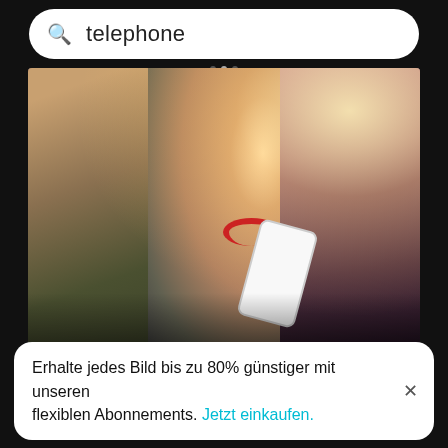telephone
[Figure (photo): Three teenage girls outdoors looking at a mobile phone with earphones attached, smiling. One girl on the left wears an olive jacket with braided hair, center girl has red headphones around neck and denim jacket, right girl has pink-tinted dark hair. Bright sunlight flare in background.]
Teenage girl looking at friends listening music through mobile phone…
Erhalte jedes Bild bis zu 80% günstiger mit unseren flexiblen Abonnements. Jetzt einkaufen.